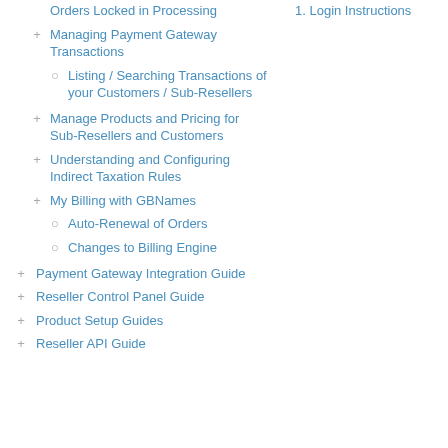Orders Locked in Processing
Managing Payment Gateway Transactions
Listing / Searching Transactions of your Customers / Sub-Resellers
Manage Products and Pricing for Sub-Resellers and Customers
Understanding and Configuring Indirect Taxation Rules
My Billing with GBNames
Auto-Renewal of Orders
Changes to Billing Engine
Payment Gateway Integration Guide
Reseller Control Panel Guide
Product Setup Guides
Reseller API Guide
1.  Login Instructions